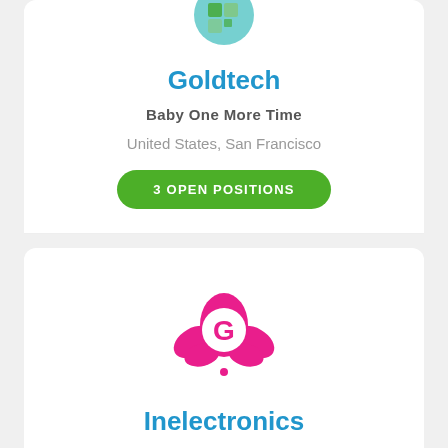[Figure (logo): Goldtech company logo - partially visible at top, green and blue squares/grid design with teal circle]
Goldtech
Baby One More Time
United States, San Francisco
3 OPEN POSITIONS
[Figure (logo): Inelectronics company logo - pink flower/lotus shape with white letter G in center]
Inelectronics
We Don't Talk Anymore
Tokyo, Japan